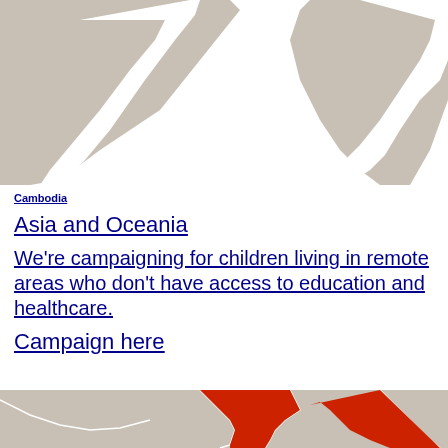[Figure (map): Partial map showing grey country outlines, top portion of page — appears to show parts of Southeast Asia (Cambodia region)]
Cambodia
Asia and Oceania
We're campaigning for children living in remote areas who don't have access to education and healthcare.
Campaign here
[Figure (map): Map showing grey country outlines with one region highlighted in red/orange, bottom portion of page]